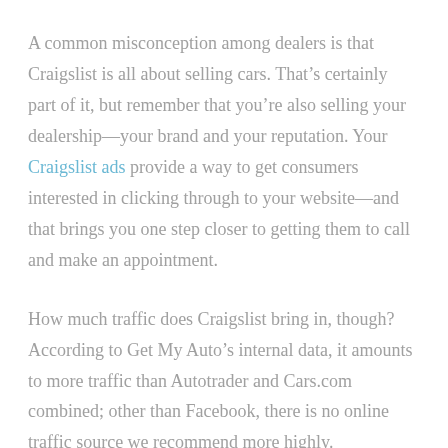A common misconception among dealers is that Craigslist is all about selling cars. That's certainly part of it, but remember that you're also selling your dealership—your brand and your reputation. Your Craigslist ads provide a way to get consumers interested in clicking through to your website—and that brings you one step closer to getting them to call and make an appointment.
How much traffic does Craigslist bring in, though? According to Get My Auto's internal data, it amounts to more traffic than Autotrader and Cars.com combined; other than Facebook, there is no online traffic source we recommend more highly.